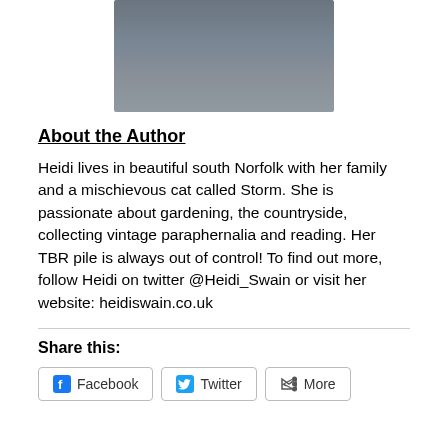[Figure (photo): Partial photo of a person wearing a dark grey crew-neck sweatshirt, cropped to show torso and neck area only]
About the Author
Heidi lives in beautiful south Norfolk with her family and a mischievous cat called Storm. She is passionate about gardening, the countryside, collecting vintage paraphernalia and reading. Her TBR pile is always out of control! To find out more, follow Heidi on twitter @Heidi_Swain or visit her website: heidiswain.co.uk
Share this:
Facebook  Twitter  More